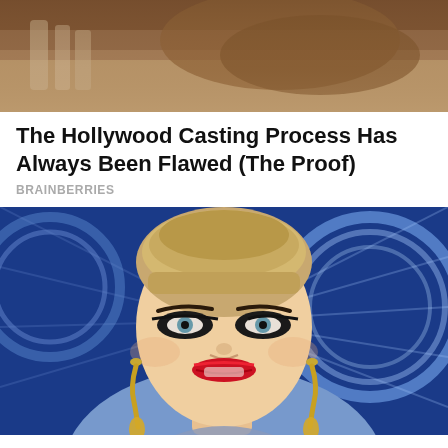[Figure (photo): Top portion of a photo showing what appears to be an animal and glass bottles in the background, cropped at top]
The Hollywood Casting Process Has Always Been Flawed (The Proof)
BRAINBERRIES
[Figure (photo): Portrait photo of Katy Perry with short blonde hair, heavy eye makeup, red lipstick, gold earrings, smiling, with blue neon lights in the background]
8 Celebrities People Don't Love Anymore
HERBEAUTY
[Figure (photo): Bottom portion of another article image, partially visible, dark tones]